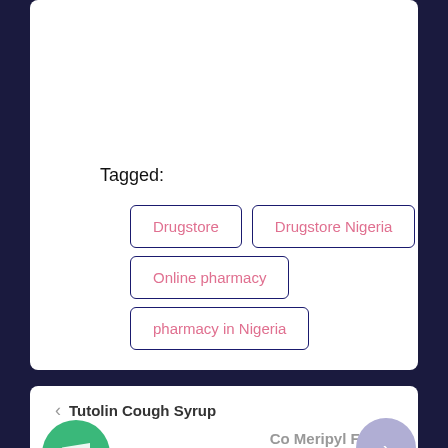Tagged:
Drugstore
Drugstore Nigeria
Online pharmacy
pharmacy in Nigeria
< Tutolin Cough Syrup
Co Meripyl Forte >